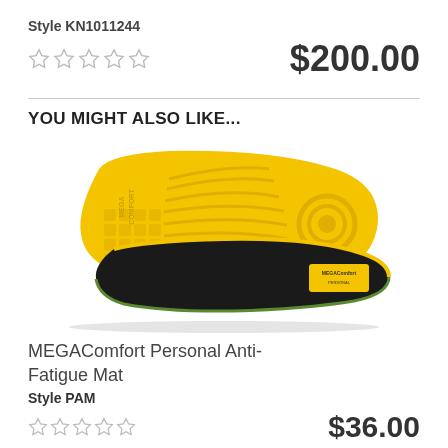Style KN1011244
☆☆☆☆☆   $200.00
YOU MIGHT ALSO LIKE...
[Figure (photo): Two MEGAComfort insole/anti-fatigue mats shown from above and below, yellow bottom and black top surface]
MEGAComfort Personal Anti-Fatigue Mat
Style PAM
☆☆☆☆☆   $36.00